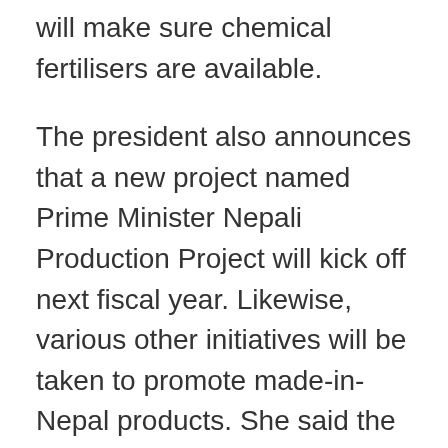will make sure chemical fertilisers are available.
The president also announces that a new project named Prime Minister Nepali Production Project will kick off next fiscal year. Likewise, various other initiatives will be taken to promote made-in-Nepal products. She said the government will celebrate one whole decade as a Nepali Production and Consumption Promotion Decade.
The government will establish more high-capacity hydropower projects. The government will construct the